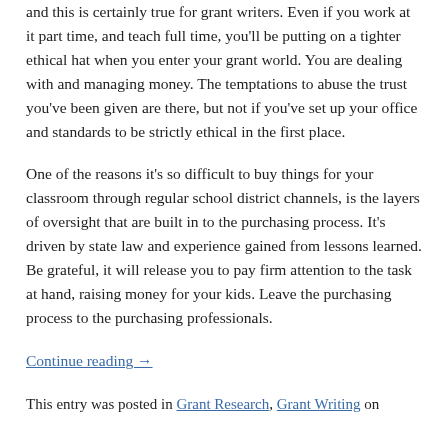and this is certainly true for grant writers. Even if you work at it part time, and teach full time, you'll be putting on a tighter ethical hat when you enter your grant world. You are dealing with and managing money. The temptations to abuse the trust you've been given are there, but not if you've set up your office and standards to be strictly ethical in the first place.
One of the reasons it's so difficult to buy things for your classroom through regular school district channels, is the layers of oversight that are built in to the purchasing process. It's driven by state law and experience gained from lessons learned. Be grateful, it will release you to pay firm attention to the task at hand, raising money for your kids. Leave the purchasing process to the purchasing professionals.
Continue reading →
This entry was posted in Grant Research, Grant Writing on